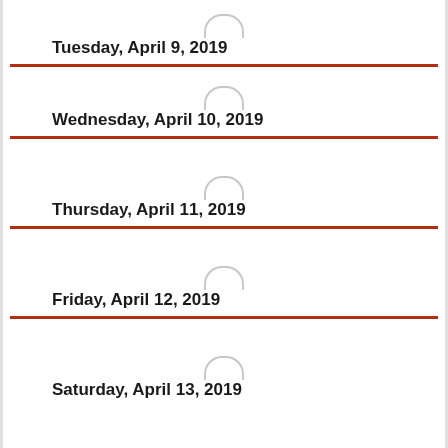Tuesday, April 9, 2019
Wednesday, April 10, 2019
Thursday, April 11, 2019
Friday, April 12, 2019
Saturday, April 13, 2019